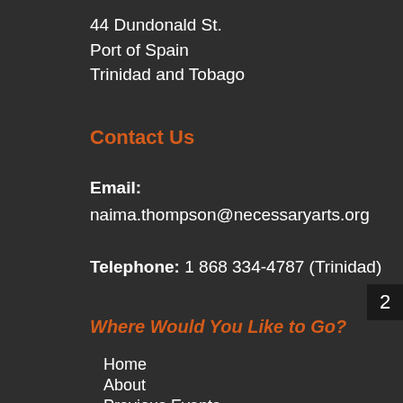44 Dundonald St.
Port of Spain
Trinidad and Tobago
Contact Us
Email:
naima.thompson@necessaryarts.org
Telephone: 1 868 334-4787 (Trinidad)
2
Where Would You Like to Go?
Home
About
Previous Events